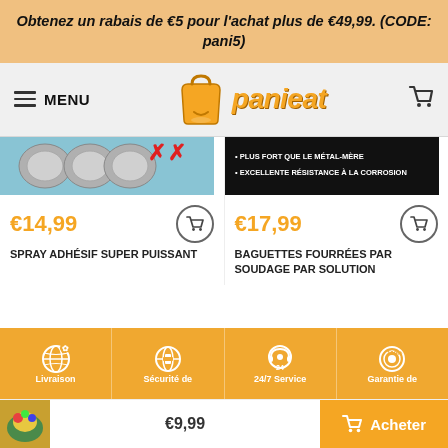Obtenez un rabais de €5 pour l'achat plus de €49,99. (CODE: pani5)
[Figure (logo): Panieat shopping website logo with orange bag icon and orange italic text 'panieat']
[Figure (photo): Product image for spray adhésif super puissant showing metal circular objects with red X marks on blue background]
[Figure (photo): Product image for baguettes fourrées par soudage par solution showing dark background with white text: PLUS FORT QUE LE MÉTAL-MÈRE, EXCELLENTE RÉSISTANCE À LA CORROSION]
€14,99
SPRAY ADHÉSIF SUPER PUISSANT
€17,99
BAGUETTES FOURRÉES PAR SOUDAGE PAR SOLUTION
Livraison
Sécurité de
24/7 Service
Garantie de
€9,99
Acheter